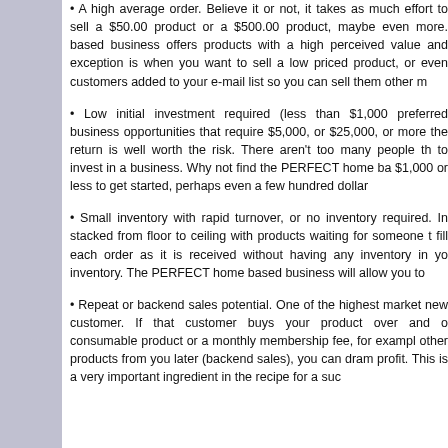• A high average order. Believe it or not, it takes as much effort to sell a $50.00 product or a $500.00 product, maybe even more. based business offers products with a high perceived value and exception is when you want to sell a low priced product, or even customers added to your e-mail list so you can sell them other m
• Low initial investment required (less than $1,000 preferred business opportunities that require $5,000, or $25,000, or more the return is well worth the risk. There aren't too many people th to invest in a business. Why not find the PERFECT home ba $1,000 or less to get started, perhaps even a few hundred dollar
• Small inventory with rapid turnover, or no inventory required. In stacked from floor to ceiling with products waiting for someone t fill each order as it is received without having any inventory in yo inventory. The PERFECT home based business will allow you to
• Repeat or backend sales potential. One of the highest market new customer. If that customer buys your product over and o consumable product or a monthly membership fee, for exampl other products from you later (backend sales), you can dram profit. This is a very important ingredient in the recipe for a suc